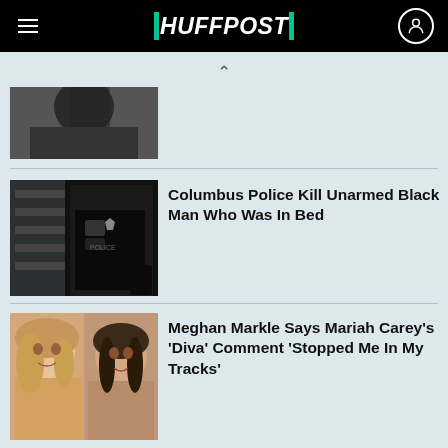HUFFPOST
[Figure (photo): Partial view of a person in a dark jacket, cropped at top of page]
Columbus Police Kill Unarmed Black Man Who Was In Bed
[Figure (photo): Police officer in black tactical gear with badge visible, interior scene]
Meghan Markle Says Mariah Carey's 'Diva' Comment 'Stopped Me In My Tracks'
[Figure (photo): Side-by-side photos of two women smiling, Mariah Carey and Meghan Markle]